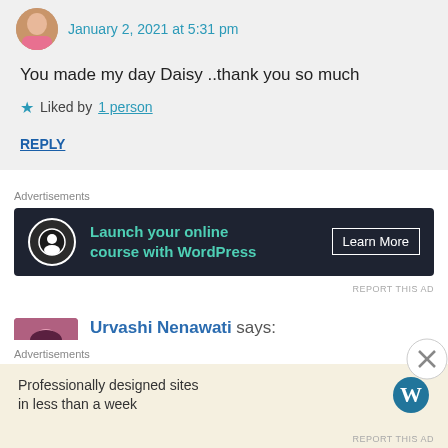January 2, 2021 at 5:31 pm
You made my day Daisy ..thank you so much
★ Liked by 1 person
REPLY
Advertisements
[Figure (other): Dark advertisement banner: 'Launch your online course with WordPress' with Learn More button]
REPORT THIS AD
Urvashi Nenawati says:
January 2, 2021 at 8:28 am
Advertisements
[Figure (other): Light beige advertisement banner: 'Professionally designed sites in less than a week' with WordPress logo]